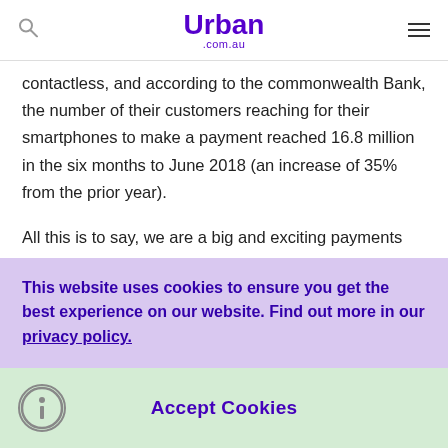Urban .com.au
contactless, and according to the commonwealth Bank, the number of their customers reaching for their smartphones to make a payment reached 16.8 million in the six months to June 2018 (an increase of 35% from the prior year).

All this is to say, we are a big and exciting payments
This website uses cookies to ensure you get the best experience on our website. Find out more in our privacy policy.
Accept Cookies